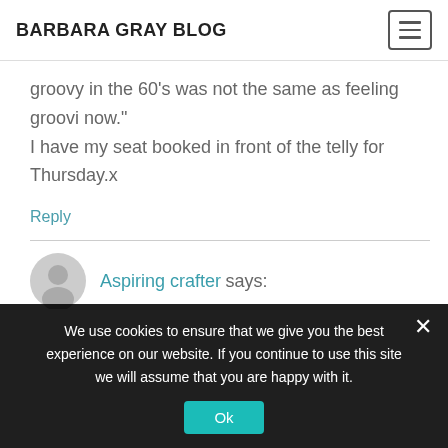BARBARA GRAY BLOG
groovy in the 60's was not the same as feeling groovi now." I have my seat booked in front of the telly for Thursday.x
Reply
Aspiring crafter says:
We use cookies to ensure that we give you the best experience on our website. If you continue to use this site we will assume that you are happy with it.